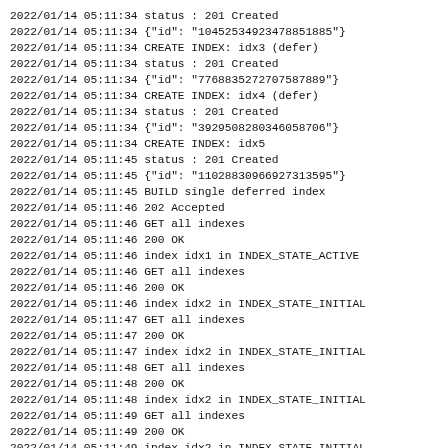2022/01/14 05:11:34 status : 201 Created
2022/01/14 05:11:34 {"id": "10452534923478851885"}
2022/01/14 05:11:34 CREATE INDEX: idx3 (defer)
2022/01/14 05:11:34 status : 201 Created
2022/01/14 05:11:34 {"id": "7768835272707587889"}
2022/01/14 05:11:34 CREATE INDEX: idx4 (defer)
2022/01/14 05:11:34 status : 201 Created
2022/01/14 05:11:34 {"id": "3929508280346058706"}
2022/01/14 05:11:34 CREATE INDEX: idx5
2022/01/14 05:11:45 status : 201 Created
2022/01/14 05:11:45 {"id": "11028830966927313595"}
2022/01/14 05:11:45 BUILD single deferred index
2022/01/14 05:11:46 202 Accepted
2022/01/14 05:11:46 GET all indexes
2022/01/14 05:11:46 200 OK
2022/01/14 05:11:46 index idx1 in INDEX_STATE_ACTIVE
2022/01/14 05:11:46 GET all indexes
2022/01/14 05:11:46 200 OK
2022/01/14 05:11:46 index idx2 in INDEX_STATE_INITIAL
2022/01/14 05:11:47 GET all indexes
2022/01/14 05:11:47 200 OK
2022/01/14 05:11:47 index idx2 in INDEX_STATE_INITIAL
2022/01/14 05:11:48 GET all indexes
2022/01/14 05:11:48 200 OK
2022/01/14 05:11:48 index idx2 in INDEX_STATE_INITIAL
2022/01/14 05:11:49 GET all indexes
2022/01/14 05:11:49 200 OK
2022/01/14 05:11:49 index idx2 in INDEX_STATE_INITIAL
2022/01/14 05:11:50 GET all indexes
2022/01/14 05:11:50 200 OK